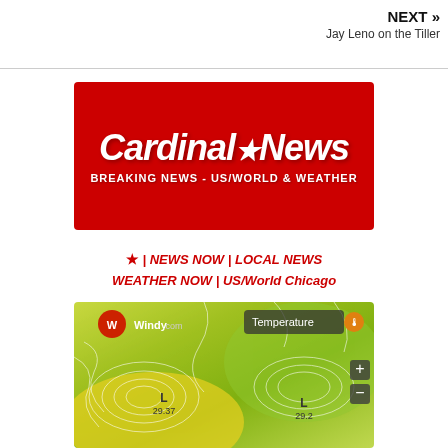NEXT »
Jay Leno on the Tiller
[Figure (logo): Cardinal News logo - red background with bold italic white text 'Cardinal*News' and subtitle 'BREAKING NEWS - US/WORLD & WEATHER']
★ | NEWS NOW | LOCAL NEWS
WEATHER NOW | US/World Chicago
[Figure (map): Windy.com temperature map showing weather pressure systems with contour lines, two Low pressure systems labeled 'L 29.37' and 'L 29.2', with Temperature indicator in top right and zoom controls]